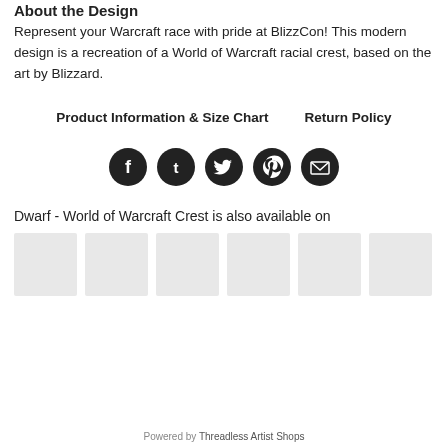About the Design
Represent your Warcraft race with pride at BlizzCon! This modern design is a recreation of a World of Warcraft racial crest, based on the art by Blizzard.
Product Information & Size Chart    Return Policy
[Figure (infographic): Five social sharing icons (Facebook, Tumblr, Twitter, Pinterest, Email) as dark filled circles]
Dwarf - World of Warcraft Crest is also available on
[Figure (other): Six light gray placeholder thumbnail images in a row]
Powered by Threadless Artist Shops